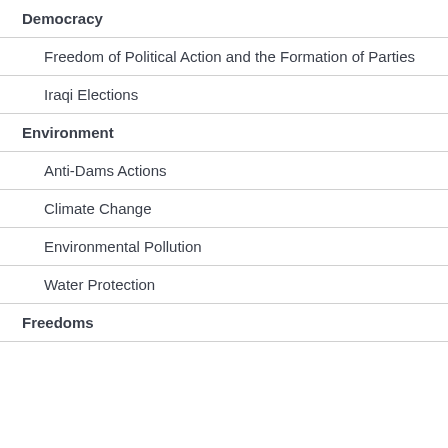Democracy
Freedom of Political Action and the Formation of Parties
Iraqi Elections
Environment
Anti-Dams Actions
Climate Change
Environmental Pollution
Water Protection
Freedoms